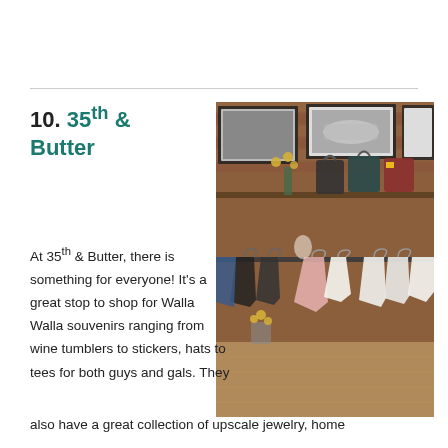10. 35th & Butter
At 35th & Butter, there is something for everyone! It's a great stop to shop for Walla Walla souvenirs ranging from wine tumblers to stickers, hats to tees for both guys and gals. They also have a great collection of upscale jewelry, home
[Figure (photo): Interior of 35th & Butter shop showing clothing racks with dresses and tops, handbags on a shelf, and framed artwork on an exposed brick wall.]